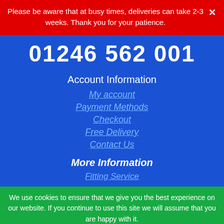Please be aware that at busy times, deliveries can take 2-3 weeks. Thank you for your patience.
01246 562 001
Account Information
My account
Payment Methods
Checkout
Free Delivery
Contact Us
More Information
Fitting Service
We use cookies to ensure that we give you the best experience on our website. If you continue to use this site we will assume that you are happy with it.
Accept
Privacy Policy